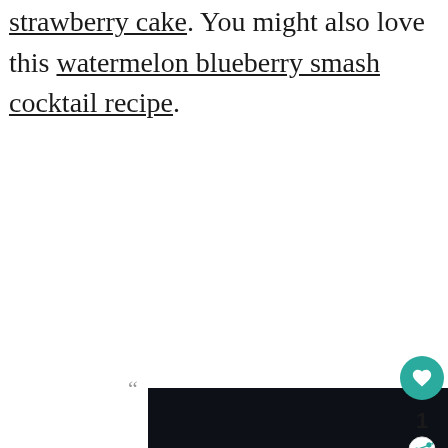strawberry cake. You might also love this watermelon blueberry smash cocktail recipe.
[Figure (photo): Dark/black image placeholder with a quotation mark in the upper left corner, likely a food or drink photo that failed to load or is loading]